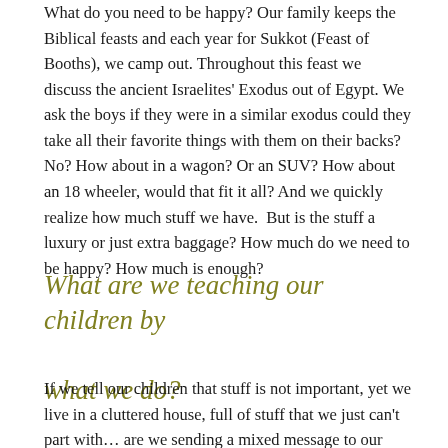What do you need to be happy? Our family keeps the Biblical feasts and each year for Sukkot (Feast of Booths), we camp out. Throughout this feast we discuss the ancient Israelites' Exodus out of Egypt. We ask the boys if they were in a similar exodus could they take all their favorite things with them on their backs? No? How about in a wagon? Or an SUV? How about an 18 wheeler, would that fit it all? And we quickly realize how much stuff we have.  But is the stuff a luxury or just extra baggage? How much do we need to be happy? How much is enough?
What are we teaching our children by what we do?
If we tell our children that stuff is not important, yet we live in a cluttered house, full of stuff that we just can't part with… are we sending a mixed message to our children? Do we just have